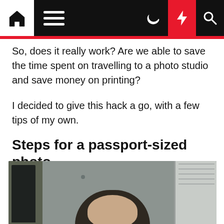[Navigation bar with home, menu, moon, lightning, and search icons]
So, does it really work? Are we able to save the time spent on travelling to a photo studio and save money on printing?
I decided to give this hack a go, with a few tips of my own.
Steps for a passport-sized photo
1. Take a photo of yourself during the day, where there is sufficient light.
[Figure (photo): A person taking a selfie indoors. They appear to be standing in a room with a dark doorway on the left and a window with blinds on the right. The top of the person's dark hair is visible at the bottom of the image.]